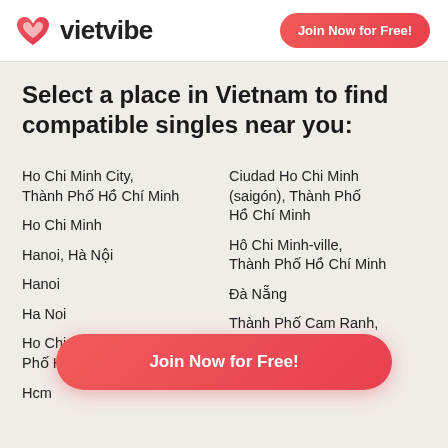[Figure (logo): Vietvibe logo with heart icon and brand name 'vietvibe' in bold dark text, plus a 'Join Now for Free!' button in red/coral gradient pill shape]
Select a place in Vietnam to find compatible singles near you:
Ho Chi Minh City, Thành Phố Hồ Chí Minh
Ciudad Ho Chi Minh (saigón), Thành Phố Hồ Chí Minh
Ho Chi Minh
Hô Chi Minh-ville, Thành Phố Hồ Chí Minh
Hanoi, Hà Nội
Đà Nẵng
Hanoi
Ho Chi Minh, Thành Phố Hồ Chí Minh
Thành Phố Cam Ranh, Khánh Hòa
Ha Noi
Hcm
[Figure (other): Floating 'Join Now for Free!' button in coral/red gradient pill shape overlaying the list]